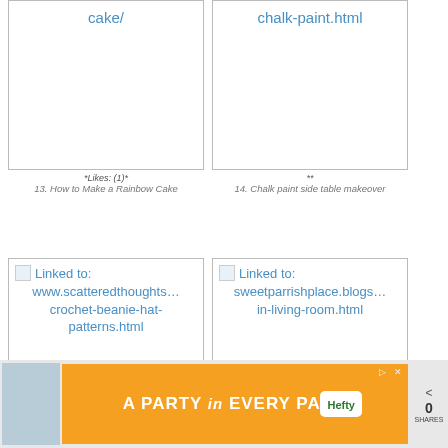[Figure (screenshot): Card showing link to rainbow cake page with text 'cake/']
*Likes: (1)*
13. How to Make a Rainbow Cake
[Figure (screenshot): Card showing link to chalk paint page with text 'chalk-paint.html']
**
14. Chalk paint side table makeover
[Figure (screenshot): Card showing link: www.scatteredthoughts... crochet-beanie-hat-patterns.html]
**
15. Crocheting hats and free patterns
[Figure (screenshot): Card showing link: sweetparrishplace.blogs... in-living-room.html]
**
16. Changes in the Living Room
[Figure (screenshot): Advertisement banner: A PARTY in EVERY PACK - Hefty brand]